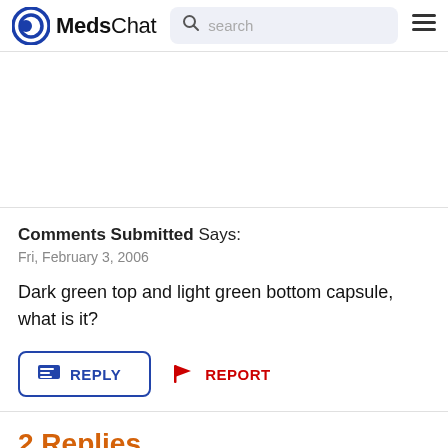MedsChat
Comments Submitted Says:
Fri, February 3, 2006
Dark green top and light green bottom capsule, what is it?
REPLY  REPORT
2 Replies